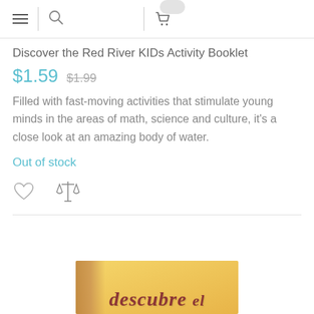Navigation bar with hamburger menu, search icon, and cart icon
Discover the Red River KIDs Activity Booklet
$1.59  $1.99
Filled with fast-moving activities that stimulate young minds in the areas of math, science and culture, it's a close look at an amazing body of water.
Out of stock
[Figure (other): Wishlist heart icon and compare (scales) icon]
[Figure (photo): Book cover showing 'descubre el' text in red stylized font on a yellow/orange background with brownish architectural element on left side]